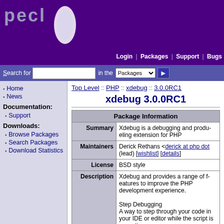PECL | Login | Packages | Support | Bugs
Search for [input] in the Packages [dropdown]
Home
News
Documentation:
Support
Downloads:
Browse Packages
Search Packages
Download Statistics
Top Level :: PHP :: xdebug :: 3.0.0RC1
xdebug 3.0.0RC1
| Package Information |
| --- |
| Summary | Xdebug is a debugging and profiling extension for PHP |
| Maintainers | Derick Rethans <derick at php dot net> (lead) [wishlist] [details] |
| License | BSD style |
| Description | Xdebug and provides a range of features to improve the PHP development experience.

Step Debugging
A way to step through your code in your IDE or editor while the script is executing.

Improvements to PHPís error... |